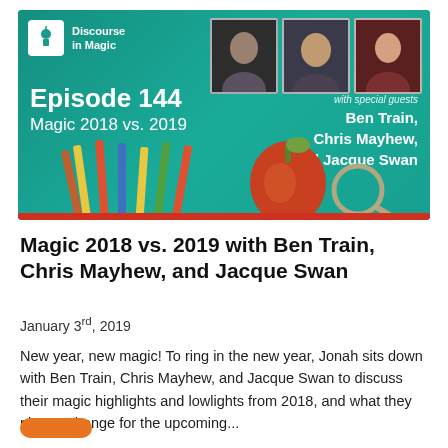[Figure (illustration): Podcast episode banner for Discourse in Magic Episode 144 - Magic 2018 vs. 2019, featuring three headshot photos of guests Ben Train, Chris Mayhew, and Jacque Swan, with school-themed decoration including pencils and an apple on a teal background.]
Magic 2018 vs. 2019 with Ben Train, Chris Mayhew, and Jacque Swan
January 3rd, 2019
New year, new magic! To ring in the new year, Jonah sits down with Ben Train, Chris Mayhew, and Jacque Swan to discuss their magic highlights and lowlights from 2018, and what they plan to change for the upcoming...